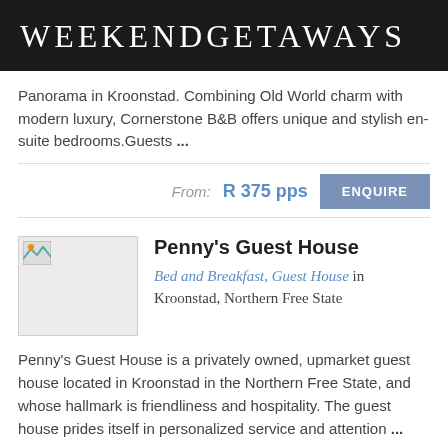WeekendGetaways
Panorama in Kroonstad. Combining Old World charm with modern luxury, Cornerstone B&B offers unique and stylish en-suite bedrooms.Guests ...
From: R 375 pps ENQUIRE
Penny's Guest House
Bed and Breakfast, Guest House in Kroonstad, Northern Free State
Penny's Guest House is a privately owned, upmarket guest house located in Kroonstad in the Northern Free State, and whose hallmark is friendliness and hospitality. The guest house prides itself in personalized service and attention ...
From: R 275 pps ENQUIRE